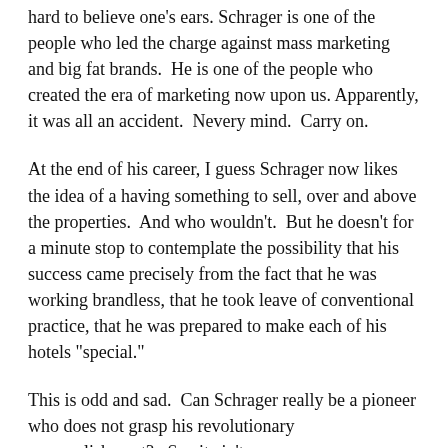hard to believe one's ears. Schrager is one of the people who led the charge against mass marketing and big fat brands.  He is one of the people who created the era of marketing now upon us. Apparently, it was all an accident.  Nevery mind.  Carry on.
At the end of his career, I guess Schrager now likes the idea of a having something to sell, over and above the properties.  And who wouldn't.  But he doesn't for a minute stop to contemplate the possibility that his success came precisely from the fact that he was working brandless, that he took leave of conventional practice, that he was prepared to make each of his hotels "special."
This is odd and sad.  Can Schrager really be a pioneer who does not grasp his revolutionary accomplishment?   Say it ain't so.
Suzy Hansen and Greece in turmoil